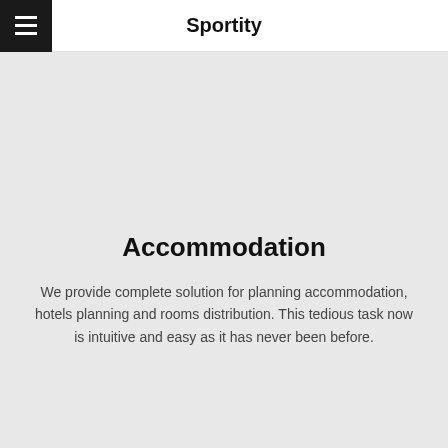Sportity
Accommodation
We provide complete solution for planning accommodation, hotels planning and rooms distribution. This tedious task now is intuitive and easy as it has never been before.